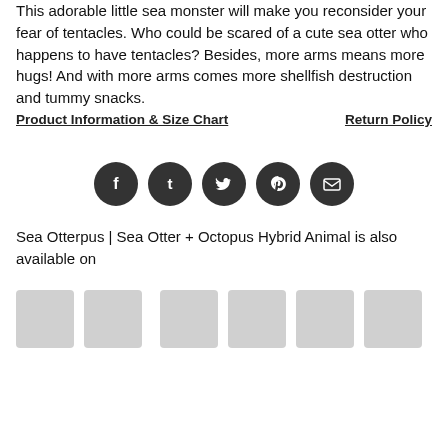This adorable little sea monster will make you reconsider your fear of tentacles. Who could be scared of a cute sea otter who happens to have tentacles? Besides, more arms means more hugs! And with more arms comes more shellfish destruction and tummy snacks.
Product Information & Size Chart    Return Policy
[Figure (infographic): Row of five dark circular social media share icons: Facebook, Tumblr, Twitter, Pinterest, Email]
Sea Otterpus | Sea Otter + Octopus Hybrid Animal is also available on
[Figure (infographic): Row of product thumbnail placeholder images, grey rectangles]